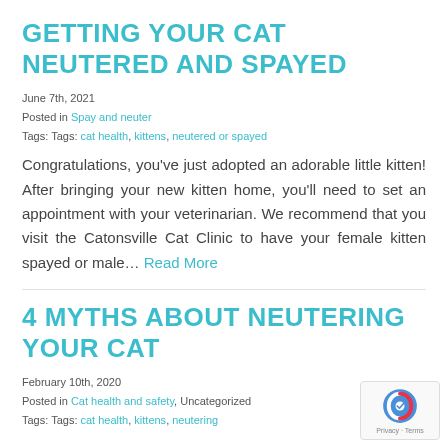GETTING YOUR CAT NEUTERED AND SPAYED
June 7th, 2021
Posted in Spay and neuter
Tags: Tags: cat health, kittens, neutered or spayed
Congratulations, you've just adopted an adorable little kitten! After bringing your new kitten home, you'll need to set an appointment with your veterinarian. We recommend that you visit the Catonsville Cat Clinic to have your female kitten spayed or male… Read More
4 MYTHS ABOUT NEUTERING YOUR CAT
February 10th, 2020
Posted in Cat health and safety, Uncategorized
Tags: Tags: cat health, kittens, neutering